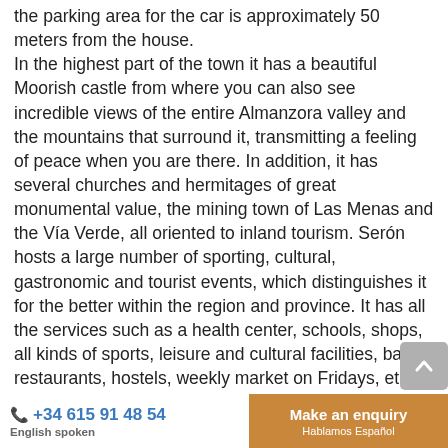the parking area for the car is approximately 50 meters from the house. In the highest part of the town it has a beautiful Moorish castle from where you can also see incredible views of the entire Almanzora valley and the mountains that surround it, transmitting a feeling of peace when you are there. In addition, it has several churches and hermitages of great monumental value, the mining town of Las Menas and the Vía Verde, all oriented to inland tourism. Serón hosts a large number of sporting, cultural, gastronomic and tourist events, which distinguishes it for the better within the region and province. It has all the services such as a health center, schools, shops, all kinds of sports, leisure and cultural facilities, bars, restaurants, hostels, weekly market on Fridays, etc. The town is located 50 minutes from the coast of Almeria, 1 hour and 20 minutes from Almería capital and the airport, 1 hour 3 and 30 minutes from Granada capital (Sierra Nevada) and 20 minutes from the city of Baza, where we have large supermarkets (lidl, Mercadona, Consum) general hospital all kinds of large El campo Adobe and temporary ...
+34 615 91 48 54  |  Make an enquiry  |  English spoken  |  Hablamos Español